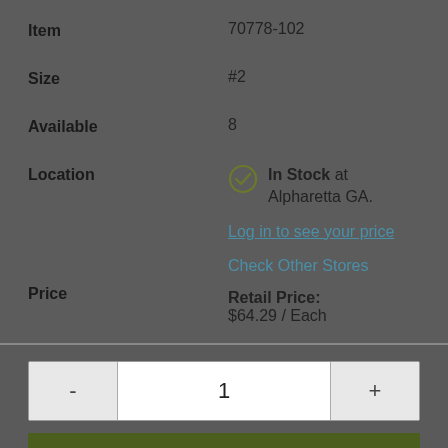| Item | 70778-102 |
| Size | #2 |
| Available | 8 |
| Location | In Stock at Alpharetta GA. |
|  | Check Other Stores |
| Price | Log in to see your price
Retail Price:
$64.29 / Each |
1
Add to Cart